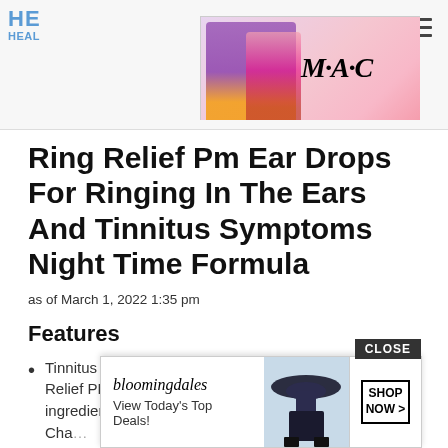HE HEAL
[Figure (screenshot): MAC cosmetics advertisement banner showing lipsticks and SHOP NOW button]
Ring Relief Pm Ear Drops For Ringing In The Ears And Tinnitus Symptoms Night Time Formula
as of March 1, 2022 1:35 pm
Features
Tinnitus symptoms tend to be the worse at night. Ring Relief PM drops contains natural homeopathic ingredients that help promote restful sleep such as Chamomile and Valerian root. Melatonin f…
Rin… …s that
[Figure (screenshot): Bloomingdale's advertisement banner with View Today's Top Deals text, model with hat, and SHOP NOW button with CLOSE button]